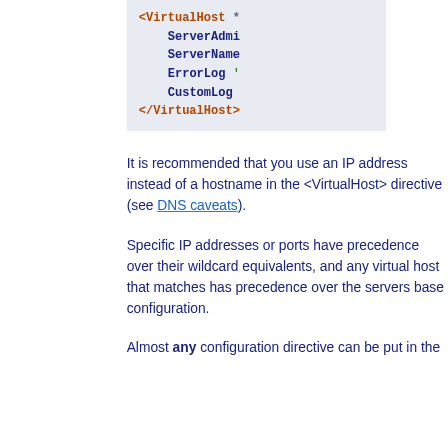[Figure (screenshot): Code block showing Apache VirtualHost configuration with directives: ServerAdmin, ServerName, ErrorLog, CustomLog, inside <VirtualHost> tags. Displayed on a light blue-grey background in monospace bold font with syntax highlighting.]
It is recommended that you use an IP address instead of a hostname in the <VirtualHost> directive (see DNS caveats).
Specific IP addresses or ports have precedence over their wildcard equivalents, and any virtual host that matches has precedence over the servers base configuration.
Almost any configuration directive can be put in the